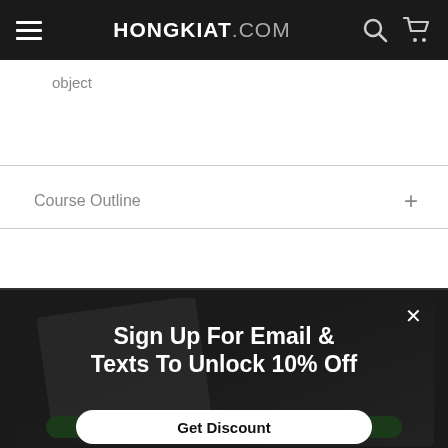HONGKIAT.COM
object
Course Outline
[Figure (screenshot): Popup overlay on dark background with close X button, headline text 'Sign Up For Email & Texts To Unlock 10% Off', and a 'Get Discount' button]
Sign Up For Email & Texts To Unlock 10% Off
Get Discount